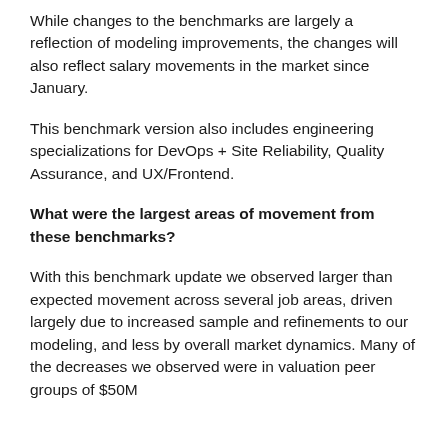While changes to the benchmarks are largely a reflection of modeling improvements, the changes will also reflect salary movements in the market since January.
This benchmark version also includes engineering specializations for DevOps + Site Reliability, Quality Assurance, and UX/Frontend.
What were the largest areas of movement from these benchmarks?
With this benchmark update we observed larger than expected movement across several job areas, driven largely due to increased sample and refinements to our modeling, and less by overall market dynamics. Many of the decreases we observed were in valuation peer groups of $50M